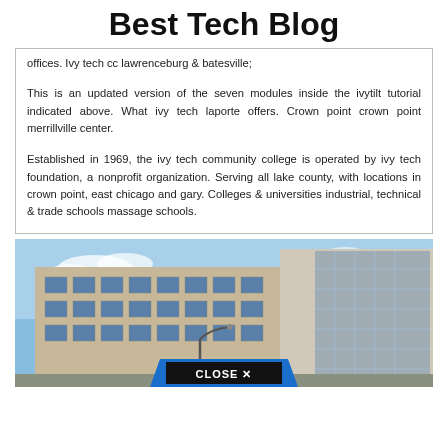Best Tech Blog
offices. Ivy tech cc lawrenceburg & batesville;
This is an updated version of the seven modules inside the ivytilt tutorial indicated above. What ivy tech laporte offers. Crown point crown point merrillville center.
Established in 1969, the ivy tech community college is operated by ivy tech foundation, a nonprofit organization. Serving all lake county, with locations in crown point, east chicago and gary. Colleges & universities industrial, technical & trade schools massage schools.
[Figure (photo): Exterior photo of a multi-story institutional/college building with blue sky and clouds in background. A 'CLOSE X' button overlay appears at the bottom center.]